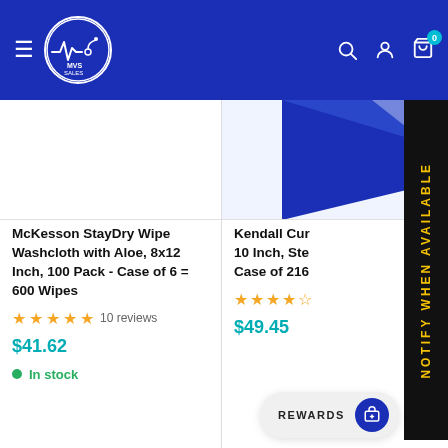[Figure (logo): MVS Sales logo - white circle with heartbeat line and MVS SALES text on blue header background]
McKesson StayDry Wipe Washcloth with Aloe, 8x12 Inch, 100 Pack - Case of 6 = 600 Wipes
10 reviews
$41.62
In stock
Kendall Cur... 10 Inch, Ste... Case of 216
$49.45
NOTIFY WHEN AVAILABLE
REWARDS